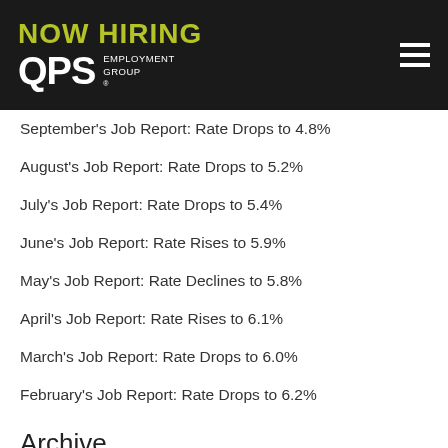NOW HIRING QPS EMPLOYMENT GROUP
September's Job Report: Rate Drops to 4.8%
August's Job Report: Rate Drops to 5.2%
July's Job Report: Rate Drops to 5.4%
June's Job Report: Rate Rises to 5.9%
May's Job Report: Rate Declines to 5.8%
April's Job Report: Rate Rises to 6.1%
March's Job Report: Rate Drops to 6.0%
February's Job Report: Rate Drops to 6.2%
Archive